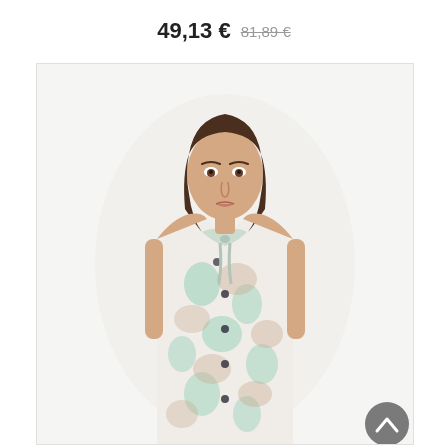49,13 € 81,89 €
[Figure (photo): A young woman with dark hair wearing a sleeveless floral blouse with mint green and beige flower patterns and a neck bow tie detail, photographed against a white background.]